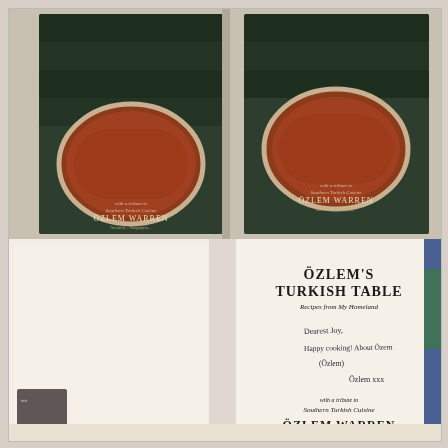[Figure (photo): A photograph showing stacks of hardcover books titled 'Özlem's Turkish Table: Recipes from My Homeland' by Özlem Warren, with a tribute to Southern Turkish Cuisine. In the foreground, one book is open to its title page which is signed with a handwritten dedication reading 'Dearest Joy, Happy cooking! About Özem (Ölem?) Özlem xxx', along with the printed subtitle 'with a tribute to Southern Turkish Cuisine' and author name 'ÖZLEM WARREN'.]